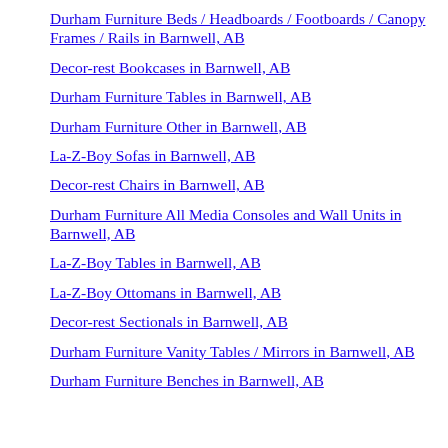Durham Furniture Beds / Headboards / Footboards / Canopy Frames / Rails in Barnwell, AB
Decor-rest Bookcases in Barnwell, AB
Durham Furniture Tables in Barnwell, AB
Durham Furniture Other in Barnwell, AB
La-Z-Boy Sofas in Barnwell, AB
Decor-rest Chairs in Barnwell, AB
Durham Furniture All Media Consoles and Wall Units in Barnwell, AB
La-Z-Boy Tables in Barnwell, AB
La-Z-Boy Ottomans in Barnwell, AB
Decor-rest Sectionals in Barnwell, AB
Durham Furniture Vanity Tables / Mirrors in Barnwell, AB
Durham Furniture Benches in Barnwell, AB